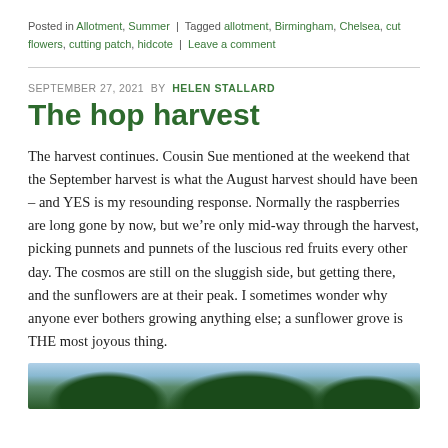Posted in Allotment, Summer | Tagged allotment, Birmingham, Chelsea, cut flowers, cutting patch, hidcote | Leave a comment
The hop harvest
SEPTEMBER 27, 2021 BY HELEN STALLARD
The harvest continues. Cousin Sue mentioned at the weekend that the September harvest is what the August harvest should have been – and YES is my resounding response. Normally the raspberries are long gone by now, but we're only mid-way through the harvest, picking punnets and punnets of the luscious red fruits every other day. The cosmos are still on the sluggish side, but getting there, and the sunflowers are at their peak. I sometimes wonder why anyone ever bothers growing anything else; a sunflower grove is THE most joyous thing.
[Figure (photo): Outdoor nature photo showing trees with green foliage against a sky background]